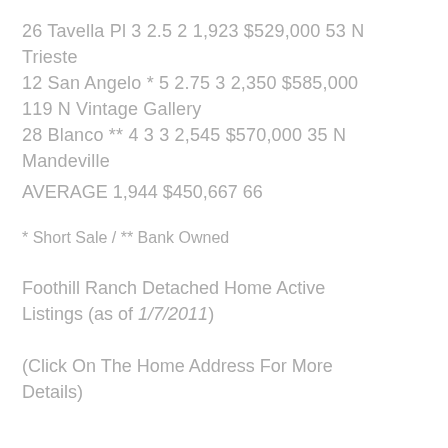26 Tavella Pl 3 2.5 2 1,923 $529,000 53 N Trieste
12 San Angelo * 5 2.75 3 2,350 $585,000 119 N Vintage Gallery
28 Blanco ** 4 3 3 2,545 $570,000 35 N Mandeville
AVERAGE 1,944 $450,667 66
* Short Sale / ** Bank Owned
Foothill Ranch Detached Home Active Listings (as of 1/7/2011)
(Click On The Home Address For More Details)